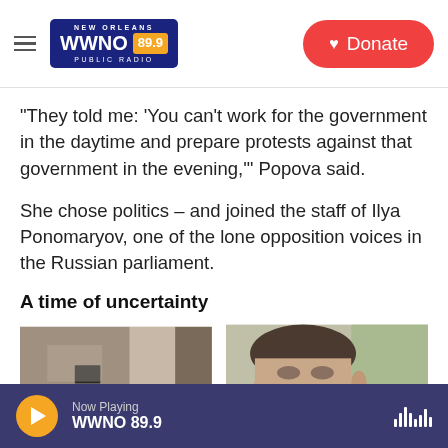NEW ORLEANS WWNO 89.9 PUBLIC RADIO — Donate
"They told me: 'You can't work for the government in the daytime and prepare protests against that government in the evening,'" Popova said.
She chose politics – and joined the staff of Ilya Ponomaryov, one of the lone opposition voices in the Russian parliament.
A time of uncertainty
[Figure (photo): Two-panel photo: left panel shows an interior scene with a wall and door; right panel shows a close-up of a man's face.]
Now Playing WWNO 89.9